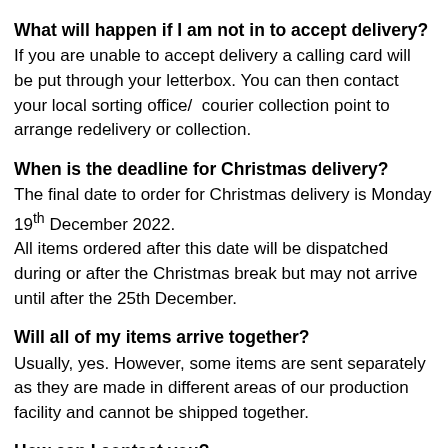What will happen if I am not in to accept delivery?
If you are unable to accept delivery a calling card will be put through your letterbox. You can then contact your local sorting office/  courier collection point to arrange redelivery or collection.
When is the deadline for Christmas delivery?
The final date to order for Christmas delivery is Monday 19th December 2022.
All items ordered after this date will be dispatched during or after the Christmas break but may not arrive until after the 25th December.
Will all of my items arrive together?
Usually, yes. However, some items are sent separately as they are made in different areas of our production facility and cannot be shipped together.
How can I contact you?